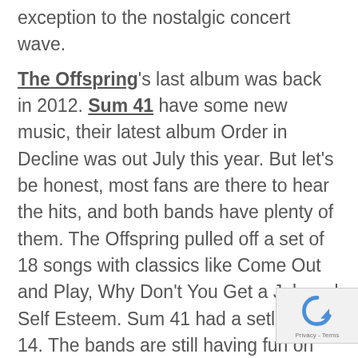exception to the nostalgic concert wave. The Offspring's last album was back in 2012. Sum 41 have some new music, their latest album Order in Decline was out July this year. But let's be honest, most fans are there to hear the hits, and both bands have plenty of them. The Offspring pulled off a set of 18 songs with classics like Come Out and Play, Why Don't You Get a Job and Self Esteem. Sum 41 had a setlist of 14. The bands are still having fun on stage and they still put on a good show, so hey, what's wrong with reliving your youth for a few hours? I know I was singing along to some
[Figure (logo): reCAPTCHA badge with Privacy - Terms text]